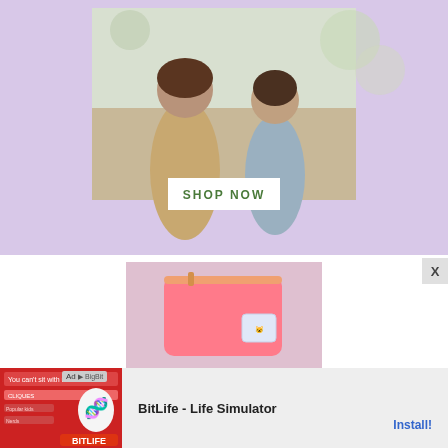[Figure (photo): Advertisement banner with lavender/purple background showing two young girls in colorful dresses outdoors. White 'SHOP NOW' button overlay at bottom center.]
[Figure (photo): Product image on pink/mauve background showing a coral pink zip pouch/case with a decorative patch, and the text 'UNIQUELY YOURS' in multicolor block letters below it.]
[Figure (screenshot): Bottom mobile advertisement bar: Ad label, BitLife game screenshot thumbnail on red background with sperm logo, 'BitLife - Life Simulator' text, and blue 'Install!' button on grey background.]